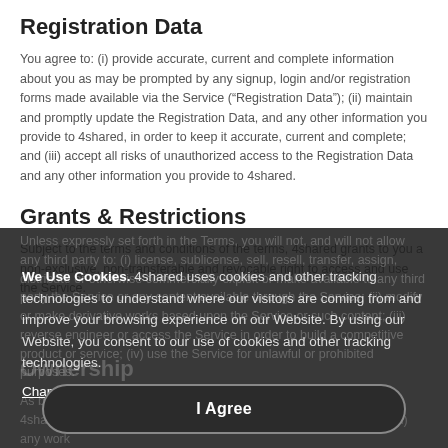Registration Data
You agree to: (i) provide accurate, current and complete information about you as may be prompted by any signup, login and/or registration forms made available via the Service (“Registration Data”); (ii) maintain and promptly update the Registration Data, and any other information you provide to 4shared, in order to keep it accurate, current and complete; and (iii) accept all risks of unauthorized access to the Registration Data and any other information you provide to 4shared.
Grants & Restrictions
Subject to the terms and conditions of the terms, 4shared grants to you a non-exclusive, non-transferable and revocable right to access and use the Service.
Unless expressly set forth in the Terms, you will not, and will not allow any third party to: (i) license, sublicense, sell, resell, transfer, assign, distribute or otherwise commercially exploit or make available to any third party the Service or any content available through the Service; (ii) modify or make derivative works based upon the Service or such content; (iii) reverse engineer or access the Service in order to build a competitive product or service; (iv) use the Service for unlawful or prohibited purposes.
Ownership
As between 4shared and you and subject to the grants in the Terms, 4shared will own all right, title and interest in and to: (i) the Service, (ii) any work
We Use Cookies. 4shared uses cookies and other tracking technologies to understand where our visitors are coming from and improve your browsing experience on our Website. By using our Website, you consent to our use of cookies and other tracking technologies.
Change my preferences
I Agree